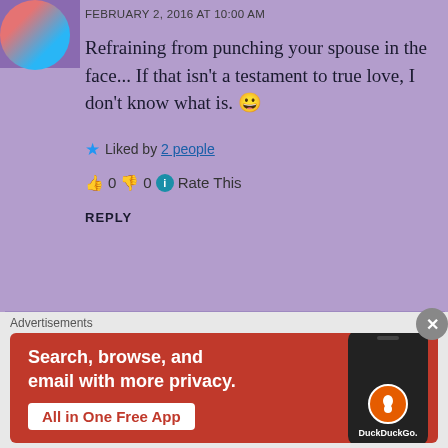FEBRUARY 2, 2016 AT 10:00 AM
Refraining from punching your spouse in the face... If that isn't a testament to true love, I don't know what is. 😀
★ Liked by 2 people
👍 0 👎 0 ℹ Rate This
REPLY
Advertisements
[Figure (screenshot): DuckDuckGo advertisement banner with text 'Search, browse, and email with more privacy. All in One Free App' and DuckDuckGo logo on a phone mockup, red/orange background]